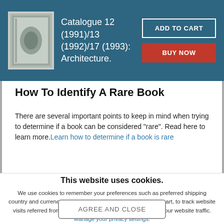Catalogue 12 (1991)/13 (1992)/17 (1993): Architecture.
How To Identify A Rare Book
There are several important points to keep in mind when trying to determine if a book can be considered "rare". Read here to learn more. Learn how to determine if a book is rare
This website uses cookies.
We use cookies to remember your preferences such as preferred shipping country and currency, to save items placed in your shopping cart, to track website visits referred from our advertising partners, and to analyze our website traffic. Manage your privacy settings.
AGREE AND CLOSE